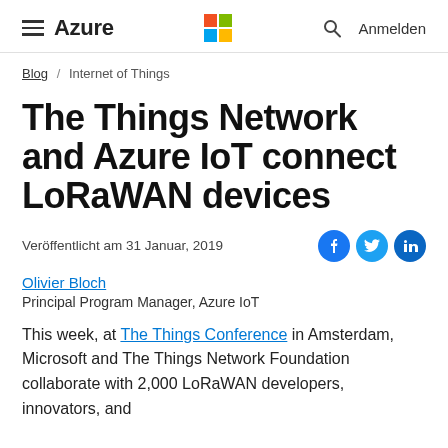Azure | Microsoft (logo) | Search | Anmelden
Blog / Internet of Things
The Things Network and Azure IoT connect LoRaWAN devices
Veröffentlicht am 31 Januar, 2019
Olivier Bloch
Principal Program Manager, Azure IoT
This week, at The Things Conference in Amsterdam, Microsoft and The Things Network Foundation collaborate with 2,000 LoRaWAN developers, innovators, and